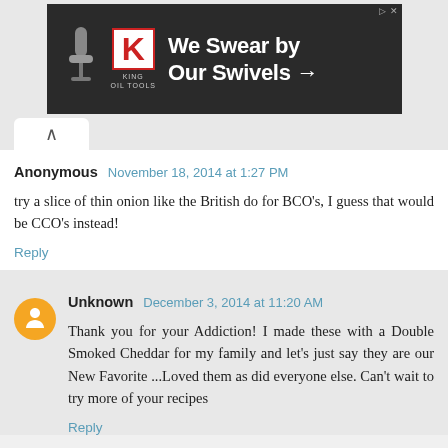[Figure (photo): Advertisement banner for King Oil Tools: 'We Swear by Our Swivels →' with dark background and red K logo]
Anonymous  November 18, 2014 at 1:27 PM
try a slice of thin onion like the British do for BCO's, I guess that would be CCO's instead!
Reply
Unknown  December 3, 2014 at 11:20 AM
Thank you for your Addiction! I made these with a Double Smoked Cheddar for my family and let's just say they are our New Favorite ...Loved them as did everyone else. Can't wait to try more of your recipes
Reply